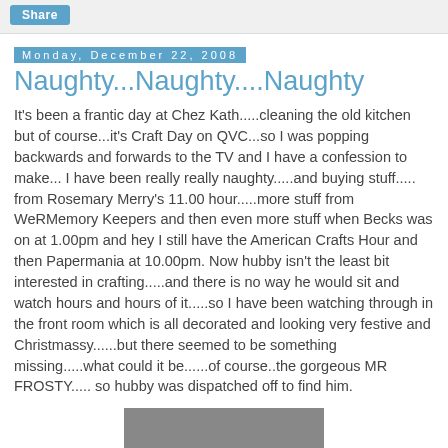Share
Monday, December 22, 2008
Naughty...Naughty....Naughty
It's been a frantic day at Chez Kath.....cleaning the old kitchen but of course...it's Craft Day on QVC...so I was popping backwards and forwards to the TV and I have a confession to make... I have been really really naughty.....and buying stuff..... from Rosemary Merry's 11.00 hour.....more stuff from WeRMemory Keepers and then even more stuff when Becks was on at 1.00pm and hey I still have the American Crafts Hour and then Papermania at 10.00pm. Now hubby isn't the least bit interested in crafting.....and there is no way he would sit and watch hours and hours of it.....so I have been watching through in the front room which is all decorated and looking very festive and Christmassy......but there seemed to be something missing.....what could it be......of course..the gorgeous MR FROSTY..... so hubby was dispatched off to find him.
[Figure (photo): Partial photo at bottom of page, appears grey/dark, subject not fully visible]